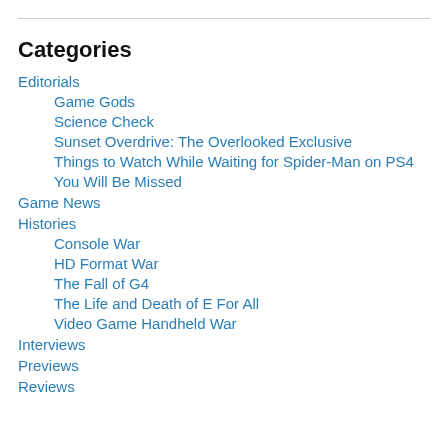Categories
Editorials
Game Gods
Science Check
Sunset Overdrive: The Overlooked Exclusive
Things to Watch While Waiting for Spider-Man on PS4
You Will Be Missed
Game News
Histories
Console War
HD Format War
The Fall of G4
The Life and Death of E For All
Video Game Handheld War
Interviews
Previews
Reviews